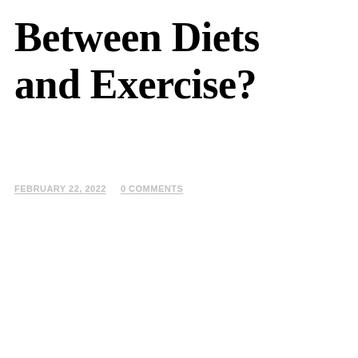Between Diets and Exercise?
FEBRUARY 22, 2022    0 COMMENTS